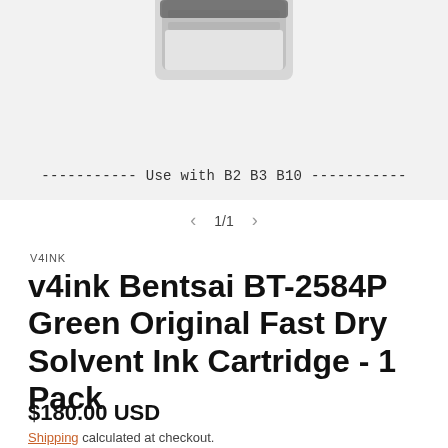[Figure (photo): Product image of v4ink Bentsai BT-2584P Green ink cartridge on a light gray background, partially cropped at top. Below the cartridge image is text reading '----------- Use with B2 B3 B10 -----------' in monospace font.]
1/1
V4INK
v4ink Bentsai BT-2584P Green Original Fast Dry Solvent Ink Cartridge - 1 Pack
$180.00 USD
Shipping calculated at checkout.